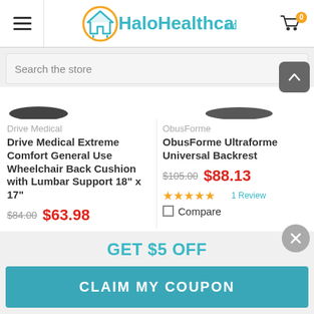[Figure (screenshot): HaloHealthcare.com website header with hamburger menu, logo, and cart icon with badge showing 0]
Search the store
[Figure (photo): Partial product images — left shows curved black cushion edge, right shows black backrest]
Drive Medical
Drive Medical Extreme Comfort General Use Wheelchair Back Cushion with Lumbar Support 18" x 17"
$84.00  $63.98
ObusForme
ObusForme Ultraforme Universal Backrest
$105.00  $88.13
1 Review
Compare
GET $5 OFF
CLAIM MY COUPON